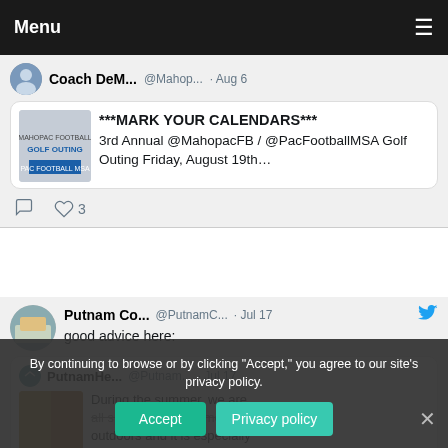Menu
Coach DeM... @Mahop... · Aug 6
***MARK YOUR CALENDARS***
3rd Annual @MahopacFB / @PacFootballMSA Golf Outing Friday, August 19th…
Putnam Co... @PutnamC... · Jul 17
good advice here:
PutnamHe... @Putnam... · Jul 17
During the summer, we are all spending more time outdoors and it is especially important to protect in... nt skin …
By continuing to browse or by clicking "Accept," you agree to our site's privacy policy.